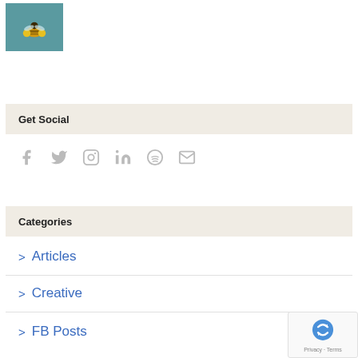[Figure (photo): Thumbnail image of a bee with yellow pollen sacs on a teal/blue-green background]
Get Social
[Figure (infographic): Social media icons: Facebook, Twitter, Instagram, LinkedIn, Spotify, Email — all in light gray]
Categories
Articles
Creative
FB Posts